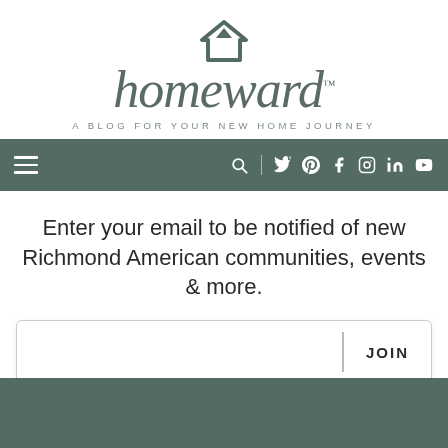[Figure (logo): Homeward blog logo — house icon above italic 'homeward' wordmark with TM mark, and tagline 'A BLOG FOR YOUR NEW HOME JOURNEY']
[Figure (screenshot): Navigation bar with hamburger menu on left and social/search icons on right (search, Twitter, Pinterest, Facebook, Instagram, LinkedIn, YouTube) on teal/dark green background]
Enter your email to be notified of new Richmond American communities, events & more.
[Figure (other): Email signup form box with input field on left, vertical divider, and JOIN button on right]
[Figure (other): Dark teal footer band at the bottom of the page]